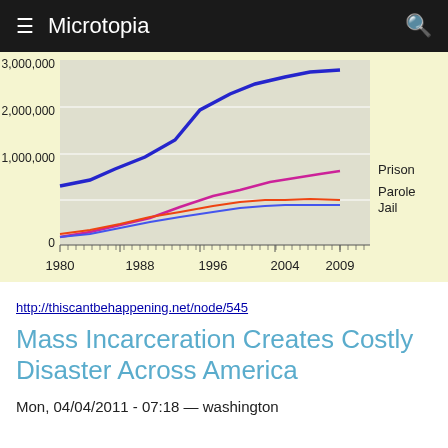≡ Microtopia 🔍
[Figure (line-chart): US Incarceration Trends 1980-2009]
http://thiscantbehappening.net/node/545
Mass Incarceration Creates Costly Disaster Across America
Mon, 04/04/2011 - 07:18 — washington